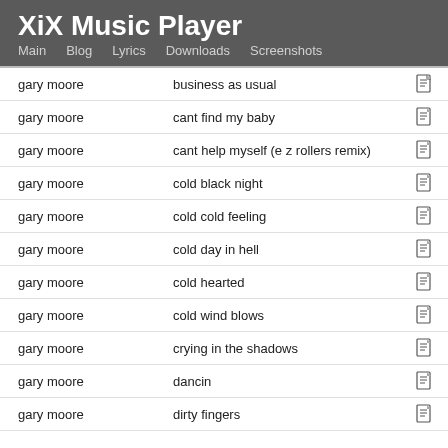XiX Music Player — Main | Blog | Lyrics | Downloads | Screenshots
gary moore — business as usual
gary moore — cant find my baby
gary moore — cant help myself (e z rollers remix)
gary moore — cold black night
gary moore — cold cold feeling
gary moore — cold day in hell
gary moore — cold hearted
gary moore — cold wind blows
gary moore — crying in the shadows
gary moore — dancin
gary moore — dirty fingers